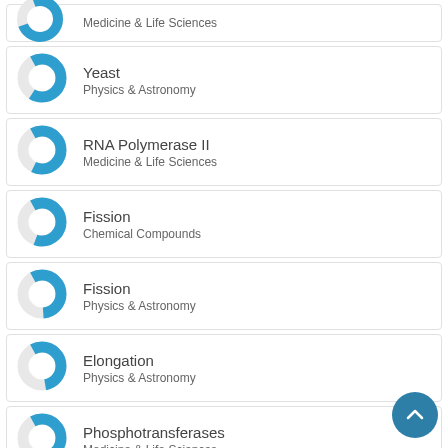Medicine & Life Sciences
Yeast
Physics & Astronomy
RNA Polymerase II
Medicine & Life Sciences
Fission
Chemical Compounds
Fission
Physics & Astronomy
Elongation
Physics & Astronomy
Phosphotransferases
Medicine & Life Sciences